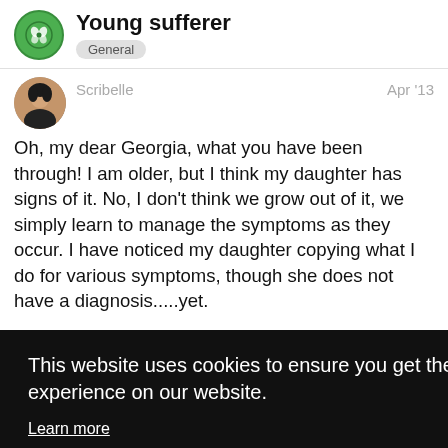Young sufferer
General
Scribelle
Apr '13
Oh, my dear Georgia, what you have been through! I am older, but I think my daughter has signs of it. No, I don't think we grow out of it, we simply learn to manage the symptoms as they occur. I have noticed my daughter copying what I do for various symptoms, though she does not have a diagnosis.....yet.
[Figure (screenshot): Cookie consent overlay banner with black background. Text reads: 'This website uses cookies to ensure you get the best experience on our website. Learn more' and a yellow 'Got it!' button. Partially visible text fragments on the right side of the banner.]
will join in with all of us, as we share the